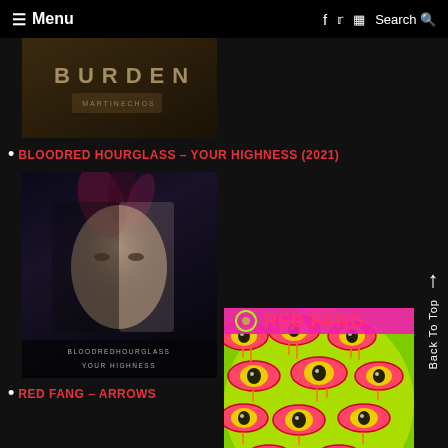≡ Menu  f  🐦  📷  Search 🔍
[Figure (photo): Partial album cover showing text BURDEN with dark earthy tones]
BLOODRED HOURGLASS – YOUR HIGHNESS (2021)
[Figure (photo): Album cover for Bloodred Hourglass – Your Highness showing a woman's face half masked with feathers, dark moody tones, text at bottom reads BLOODREDHOURGLASS YOUR HIGHNESS]
RED FANG – ARROWS
[Figure (photo): Album cover for Red Fang – Arrows showing multiple stylized eyes on bright green/yellow/orange background with RED FANG text and a circular logo]
Back To Top